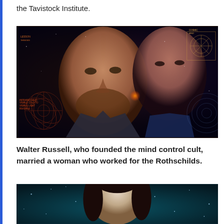the Tavistock Institute.
[Figure (photo): Composite image of two people (a man with a beard and a woman) overlaid with cosmic and scientific diagram backgrounds featuring circular patterns and text fragments including 'VISIBLE LIGHT'.]
Walter Russell, who founded the mind control cult, married a woman who worked for the Rothschilds.
[Figure (photo): Partial photo of a woman with dark hair against a teal starfield background, cropped at bottom of page.]